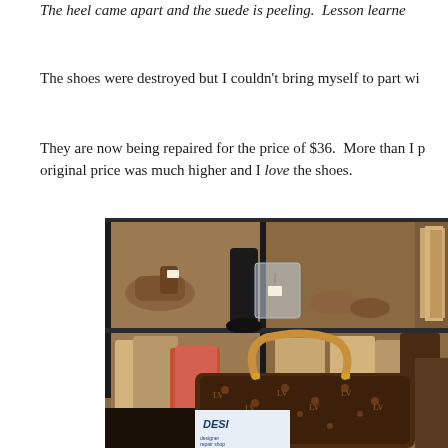The heel came apart and the suede is peeling.  Lesson learne...
The shoes were destroyed but I couldn't bring myself to part wi...
They are now being repaired for the price of $36.  More than I p... original price was much higher and I love the shoes.
[Figure (photo): Interior of a shoe repair shop showing shelves stocked with shoes and bags wrapped in brown paper bags. A Louis Vuitton monogram bag is visible in the foreground along with a sign reading DESI... (likely a designer repair shop sign).]